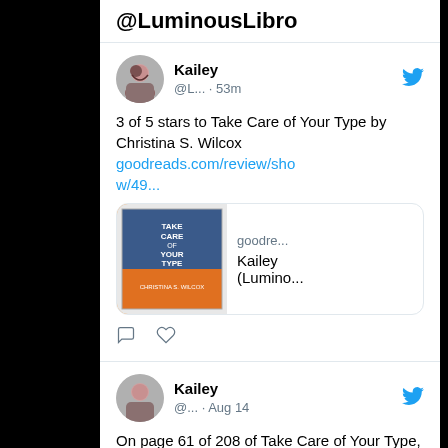@LuminousLibro
Kailey @L... · 53m
3 of 5 stars to Take Care of Your Type by Christina S. Wilcox goodreads.com/review/show/49...
[Figure (screenshot): Goodreads link card showing book cover of Take Care of Your Type with book image on left and 'goodre... Kailey (Lumino...' text on right]
Kailey @... · Aug 14
On page 61 of 208 of Take Care of Your Type, by